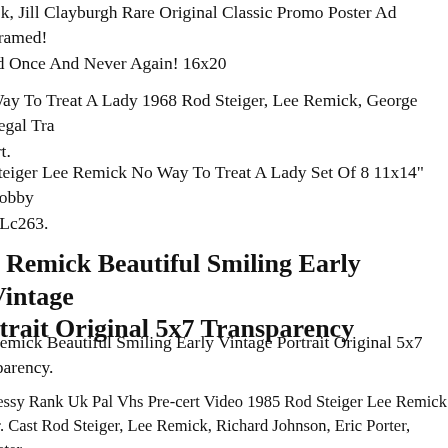ick, Jill Clayburgh Rare Original Classic Promo Poster Ad Framed! ed Once And Never Again! 16x20
Way To Treat A Lady 1968 Rod Steiger, Lee Remick, George Segal Tra ert.
Steiger Lee Remick No Way To Treat A Lady Set Of 8 11x14" Lobby s Lc263.
e Remick Beautiful Smiling Early Vintage Portrait Original 5x7 Transparency
Remick Beautiful Smiling Early Vintage Portrait Original 5x7 sparency.
nessy Rank Uk Pal Vhs Pre-cert Video 1985 Rod Steiger Lee Remick er. Cast Rod Steiger, Lee Remick, Richard Johnson, Eric Porter, Peter n, Trevor Howard. Hennessy 1975. Rank Video 0224 Uk Vhs Pal Vide ette 1985. Original Issue On Blueorange Rank Video Label With Sma n Rank Logo Box And Full Colour Sleeve.